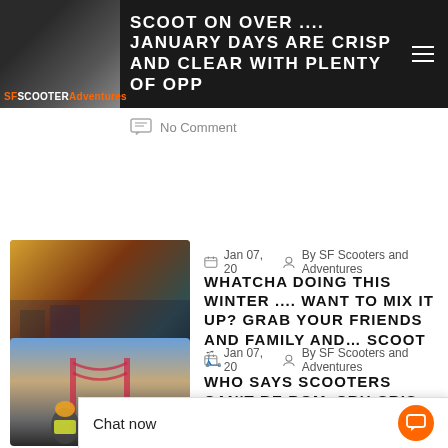SF SCOOTER Adventures — SCOOT ON OVER .... JANUARY DAYS ARE CRISP AND CLEAR WITH PLENTY OF OPP
No Comment
Jan 07, 20  By SF Scooters and Adventures
WHATCHA DOING THIS WINTER .... WANT TO MIX IT UP? GRAB YOUR FRIENDS AND FAMILY AND… SCOOT 🛴
No Comment
Jan 07, 20  By SF Scooters and Adventures
WHO SAYS SCOOTERS CAN'T BE ROM/ CRU CRISP
Chat now